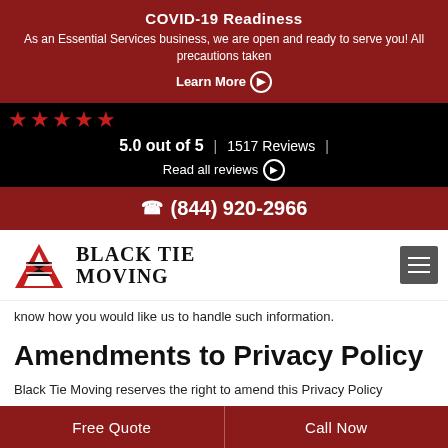COVID-19 Readiness
As an Essential Services business, we are open and ready to serve you! All precautions taken
Learn More ▶
[Figure (other): Five red star rating icons on black background]
5.0 out of 5  |  1517 Reviews  |
Read all reviews ▶
(844) 920-2966
[Figure (logo): Black Tie Moving logo with shield/bowtie graphic and company name]
know how you would like us to handle such information.
Amendments to Privacy Policy
Black Tie Moving reserves the right to amend this Privacy Policy periodically.
Free Quote    Call Now